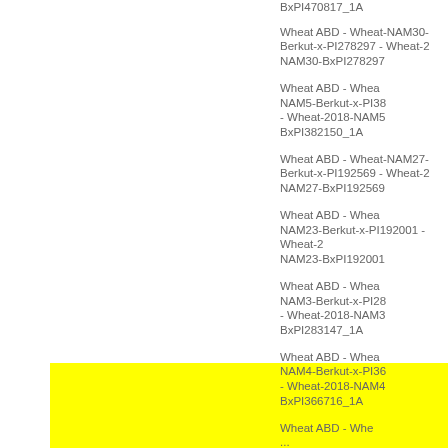[Figure (bar-chart): Horizontal bar chart showing a large yellow bar spanning most of the left side of the chart area. The right side contains truncated legend/label entries listing various Wheat ABD NAM entries (NAM30-BxPI278297, NAM5-BxPI382150_1A, NAM27-BxPI192569, NAM23-BxPI192001, NAM3-BxPI283147_1A, NAM4-BxPI366716_1A, and more partially visible). Top partially visible label: BxPI470817_1A.]
BxPI470817_1A
Wheat ABD - Wheat-NAM30-Berkut-x-PI278297 - Wheat-2018-NAM30-BxPI278297
Wheat ABD - Wheat-NAM5-Berkut-x-PI382150 - Wheat-2018-NAM5-BxPI382150_1A
Wheat ABD - Wheat-NAM27-Berkut-x-PI192569 - Wheat-2018-NAM27-BxPI192569
Wheat ABD - Wheat-NAM23-Berkut-x-PI192001 - Wheat-2018-NAM23-BxPI192001
Wheat ABD - Wheat-NAM3-Berkut-x-PI283147 - Wheat-2018-NAM3-BxPI283147_1A
Wheat ABD - Wheat-NAM4-Berkut-x-PI366716 - Wheat-2018-NAM4-BxPI366716_1A
Wheat ABD - Wheat-